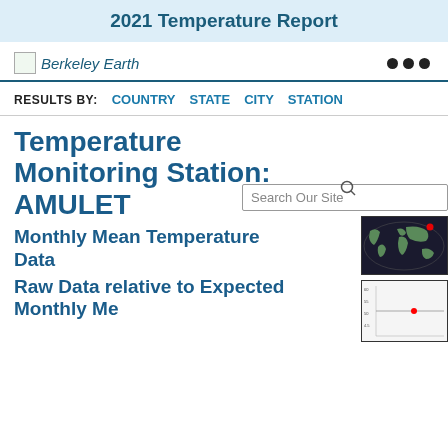2021 Temperature Report
[Figure (logo): Berkeley Earth logo with leaf icon]
RESULTS BY: COUNTRY STATE CITY STATION
Temperature Monitoring Station: AMULET
Search Our Site
Monthly Mean Temperature Data
Raw Data relative to Expected Monthly Mean
[Figure (map): World map showing station location with red dot highlight in upper region]
[Figure (continuous-plot): Small chart showing raw temperature data relative to expected monthly mean, with a red dot marker]